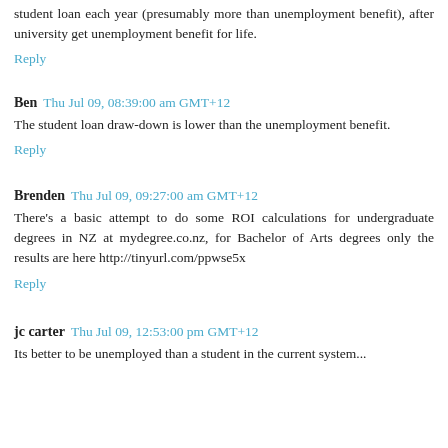student loan each year (presumably more than unemployment benefit), after university get unemployment benefit for life.
Reply
Ben  Thu Jul 09, 08:39:00 am GMT+12
The student loan draw-down is lower than the unemployment benefit.
Reply
Brenden  Thu Jul 09, 09:27:00 am GMT+12
There's a basic attempt to do some ROI calculations for undergraduate degrees in NZ at mydegree.co.nz, for Bachelor of Arts degrees only the results are here http://tinyurl.com/ppwse5x
Reply
jc carter  Thu Jul 09, 12:53:00 pm GMT+12
Its better to be unemployed than a student in the current system...